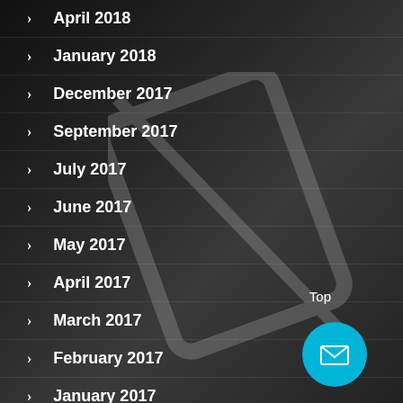April 2018
January 2018
December 2017
September 2017
July 2017
June 2017
May 2017
April 2017
March 2017
February 2017
January 2017
December 2016
November 2016
October 2016
Top